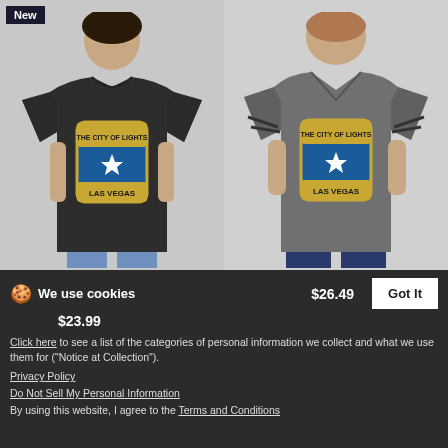[Figure (photo): Man wearing dark charcoal t-shirt with Las Vegas Nevada city of light badge graphic. 'New' badge in top left corner. Four color swatches below (dark checked, gray, white, black).]
[Figure (photo): Woman wearing gray vintage sports t-shirt with Las Vegas Nevada city of light badge graphic. Six color swatches below.]
Las Vegas - Nevada - The city of light! - Fitted Cotton/Poly T-Shirt by Next Level
Las Vegas - Nevada - The city of light! - Women's Vintage Sports T-Shirt
$23.99
$26.49
We use cookies
Click here to see a list of the categories of personal information we collect and what we use them for ("Notice at Collection").
Privacy Policy
Do Not Sell My Personal Information
By using this website, I agree to the Terms and Conditions